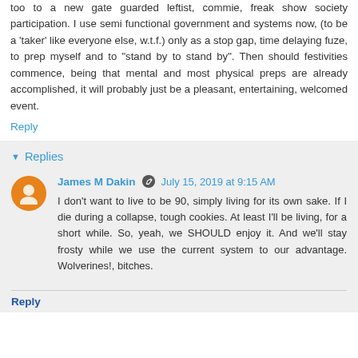too to a new gate guarded leftist, commie, freak show society participation. I use semi functional government and systems now, (to be a 'taker' like everyone else, w.t.f.) only as a stop gap, time delaying fuze, to prep myself and to "stand by to stand by". Then should festivities commence, being that mental and most physical preps are already accomplished, it will probably just be a pleasant, entertaining, welcomed event.
Reply
Replies
James M Dakin   July 15, 2019 at 9:15 AM
I don't want to live to be 90, simply living for its own sake. If I die during a collapse, tough cookies. At least I'll be living, for a short while. So, yeah, we SHOULD enjoy it. And we'll stay frosty while we use the current system to our advantage. Wolverines!, bitches.
Reply